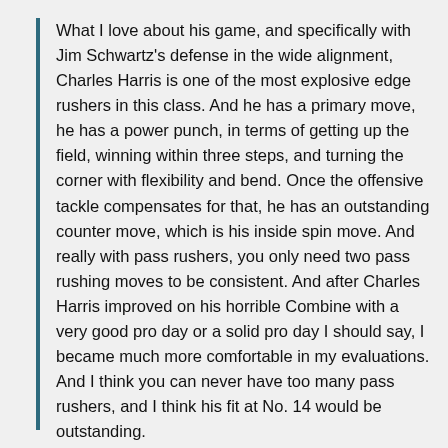What I love about his game, and specifically with Jim Schwartz's defense in the wide alignment, Charles Harris is one of the most explosive edge rushers in this class. And he has a primary move, he has a power punch, in terms of getting up the field, winning within three steps, and turning the corner with flexibility and bend. Once the offensive tackle compensates for that, he has an outstanding counter move, which is his inside spin move. And really with pass rushers, you only need two pass rushing moves to be consistent. And after Charles Harris improved on his horrible Combine with a very good pro day or a solid pro day I should say, I became much more comfortable in my evaluations. And I think you can never have too many pass rushers, and I think his fit at No. 14 would be outstanding.